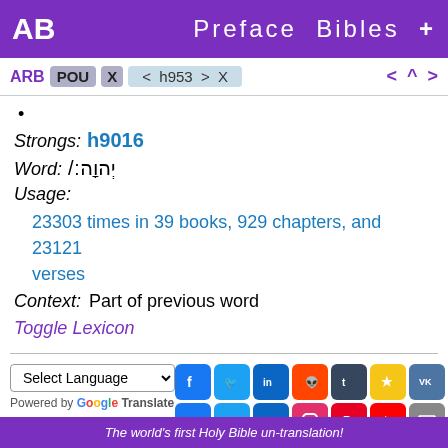AB  Preface  Bibles  +
ARB POU X  < h953 > X  < ^ >
•
Strongs: h9016
Word: יְהוָה׃/
Usage:
23303 times in 39 books, 929 chapters, and 23121 verses
Context:  Part of previous word
Toggle Lexicon
Select Language
Powered by Google Translate
The world's first Holy Bible un-translation!